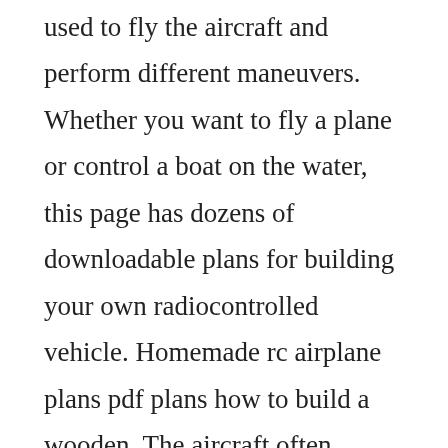used to fly the aircraft and perform different maneuvers. Whether you want to fly a plane or control a boat on the water, this page has dozens of downloadable plans for building your own radiocontrolled vehicle. Homemade rc airplane plans pdf plans how to build a wooden. The aircraft often require more individual components and complex construction, but they result in more realistic scale models. She continues to be a crowd favorite at air shows and local halloween events. My only affiliation with his site is as a subscriber and it is well worth the. However,